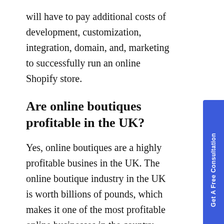will have to pay additional costs of development, customization, integration, domain, and, marketing to successfully run an online Shopify store.
Are online boutiques profitable in the UK?
Yes, online boutiques are a highly profitable business in the UK. The online boutique industry in the UK is worth billions of pounds, which makes it one of the most profitable online businesses in the country.
Do I need to register a company to sell the online UK with the Shopify store?